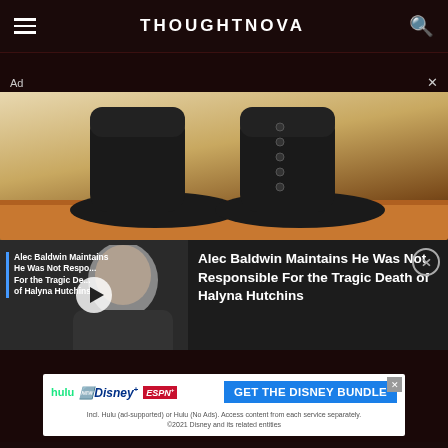THOUGHTNOVA
[Figure (screenshot): Advertisement overlay showing black leather boots on a wooden surface, with a video panel below showing Alec Baldwin and text about maintaining he was not responsible for the tragic death of Halyna Hutchins. Label 'Ad' with close X.]
[Figure (screenshot): Disney Bundle advertisement banner showing Hulu, Disney+, and ESPN+ logos with 'GET THE DISNEY BUNDLE' call to action button and fine print about access terms.]